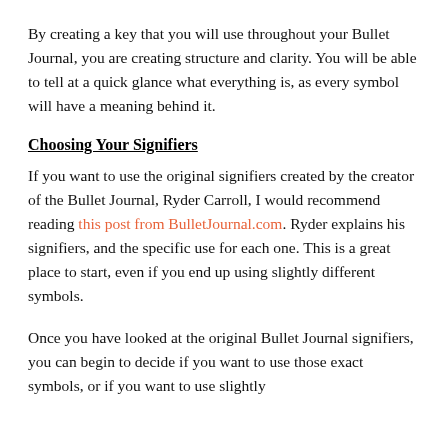By creating a key that you will use throughout your Bullet Journal, you are creating structure and clarity. You will be able to tell at a quick glance what everything is, as every symbol will have a meaning behind it.
Choosing Your Signifiers
If you want to use the original signifiers created by the creator of the Bullet Journal, Ryder Carroll, I would recommend reading this post from BulletJournal.com. Ryder explains his signifiers, and the specific use for each one. This is a great place to start, even if you end up using slightly different symbols.
Once you have looked at the original Bullet Journal signifiers, you can begin to decide if you want to use those exact symbols, or if you want to use slightly